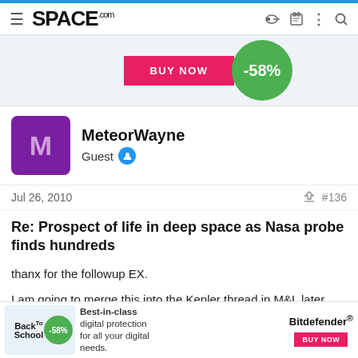SPACE.com
[Figure (infographic): Advertisement banner with BUY NOW button and -58% discount circle on light blue background]
MeteorWayne
Guest
Jul 26, 2010  #136
Re: Prospect of life in deep space as Nasa probe finds hundreds
thanx for the followup EX.
I am going to merge this into the Kepler thread in M&L later today.
[Figure (infographic): Bottom advertisement: Back to School, -58%, Best-in-class digital protection for all your digital needs. Bitdefender BUY NOW button.]